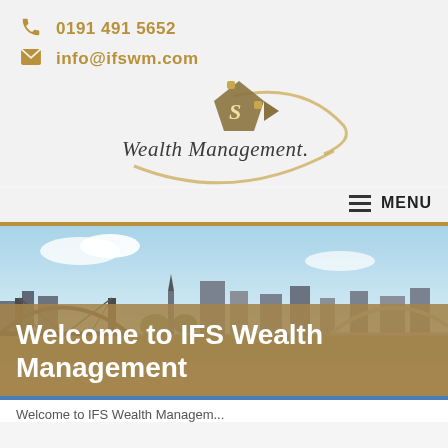0191 491 5652
info@ifswm.com
[Figure (logo): IFS Wealth Management logo with puzzle piece and swoosh design, text 'Wealth Management.']
MENU
[Figure (photo): Panoramic cityscape photograph showing Newcastle upon Tyne with the Tyne Bridge and Millennium Bridge visible]
Welcome to IFS Wealth Management
Welcome to IFS Wealth Managem...